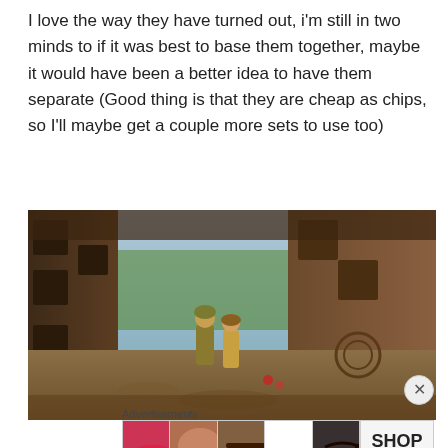I love the way they have turned out, i'm still in two minds to if it was best to base them together, maybe it would have been a better idea to have them separate (Good thing is that they are cheap as chips, so I'll maybe get a couple more sets to use too)
[Figure (photo): Miniature wargaming figurines (a soldier and a civilian) posed among weathered stone ruins on a diorama base with gravel and debris.]
Advertisements
[Figure (photo): Ulta Beauty advertisement banner showing close-up cosmetic/makeup imagery (lips, eyeshadow brush, eye) with the Ulta logo and 'SHOP NOW' text.]